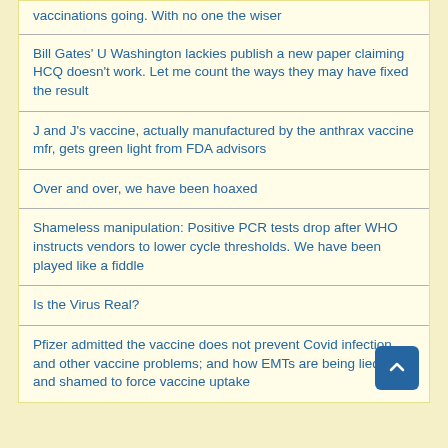vaccinations going. With no one the wiser
Bill Gates' U Washington lackies publish a new paper claiming HCQ doesn't work. Let me count the ways they may have fixed the result
J and J's vaccine, actually manufactured by the anthrax vaccine mfr, gets green light from FDA advisors
Over and over, we have been hoaxed
Shameless manipulation: Positive PCR tests drop after WHO instructs vendors to lower cycle thresholds. We have been played like a fiddle
Is the Virus Real?
Pfizer admitted the vaccine does not prevent Covid infection and other vaccine problems; and how EMTs are being lied to and shamed to force vaccine uptake